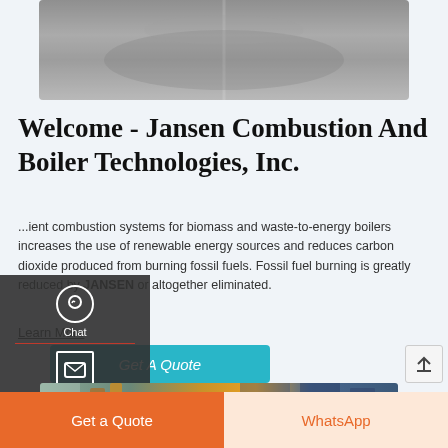[Figure (photo): Grayscale aerial or road/field image at top of page]
Welcome - Jansen Combustion And Boiler Technologies, Inc.
...ient combustion systems for biomass and waste-to-energy boilers increases the use of renewable energy sources and reduces carbon dioxide produced from burning fossil fuels. Fossil fuel burning is greatly reduced by JANSEN or altogether eliminated.
Learn More
Get A Quote
[Figure (photo): Industrial pipes and boiler equipment, color photo]
Get a Quote
WhatsApp